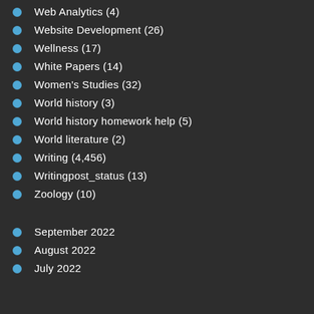Web Analytics (4)
Website Development (26)
Wellness (17)
White Papers (14)
Women's Studies (32)
World history (3)
World history homework help (5)
World literature (2)
Writing (4,456)
Writingpost_status (13)
Zoology (10)
September 2022
August 2022
July 2022